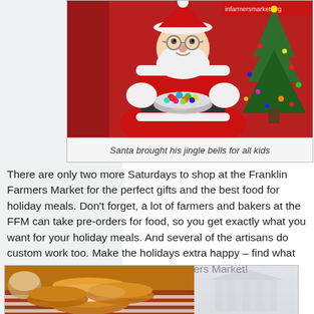[Figure (photo): Santa Claus in red suit sitting and holding a bowl of colorful candies/ornaments, with a decorated Christmas tree beside him. Background shows a banner reading 'infarmersmarket.org'.]
Santa brought his jingle bells for all kids
There are only two more Saturdays to shop at the Franklin Farmers Market for the perfect gifts and the best food for holiday meals. Don't forget, a lot of farmers and bakers at the FFM can take pre-orders for food, so you get exactly what you want for your holiday meals. And several of the artisans do custom work too. Make the holidays extra happy – find what you need to do so at the Franklin Farmers Market!
[Figure (photo): Close-up photo of golden baked sandwich cookies or whoopie pies wrapped in plastic, stacked on a table with a patriotic American flag in the background. A bowl of food is visible to the left.]